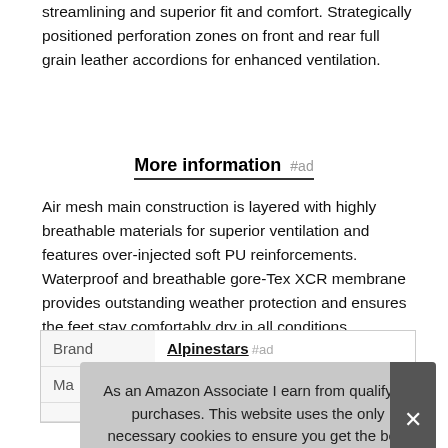streamlining and superior fit and comfort. Strategically positioned perforation zones on front and rear full grain leather accordions for enhanced ventilation.
More information #ad
Air mesh main construction is layered with highly breathable materials for superior ventilation and features over-injected soft PU reinforcements. Waterproof and breathable gore-Tex XCR membrane provides outstanding weather protection and ensures the feet stay comfortably dry in all conditions.
| Brand | Alpinestars #ad |
| --- | --- |
| Ma… |  |
|  |  |
| Weight | … |
As an Amazon Associate I earn from qualifying purchases. This website uses the only necessary cookies to ensure you get the best experience on our website. More information